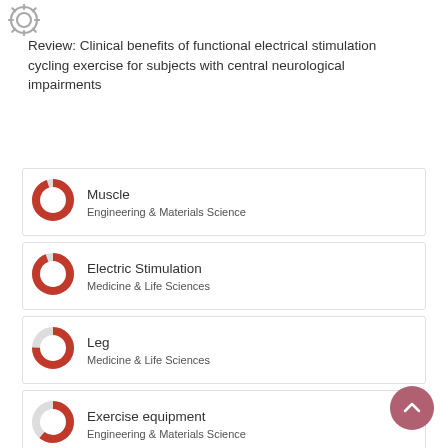[Figure (logo): Circular gear/logo icon in grey]
Review: Clinical benefits of functional electrical stimulation cycling exercise for subjects with central neurological impairments
Muscle — Engineering & Materials Science
Electric Stimulation — Medicine & Life Sciences
Leg — Medicine & Life Sciences
Exercise equipment — Engineering & Materials Science
Cerebral Palsy — Medicine & Life Sciences